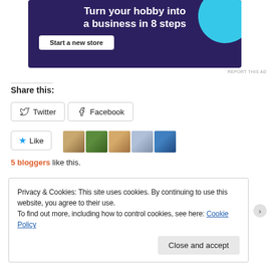[Figure (screenshot): Advertisement banner with dark purple background showing 'Turn your hobby into a business in 8 steps' with a 'Start a new store' button and teal circle graphic]
REPORT THIS AD
Share this:
Twitter  Facebook
[Figure (infographic): Like button with star and 5 blogger avatars]
5 bloggers like this.
Privacy & Cookies: This site uses cookies. By continuing to use this website, you agree to their use. To find out more, including how to control cookies, see here: Cookie Policy
Close and accept